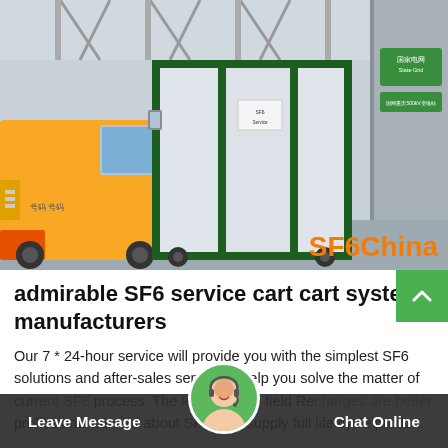[Figure (photo): A yellow utility truck parked next to a large white and dark green SF6 service cart/cabinet unit. The scene is at an industrial or power substation facility with steel structures visible in the background. A green sign with Chinese characters and the State Grid logo is visible on the right. The watermark 'SF6China' appears in orange at the bottom right of the photo.]
admirable SF6 service cart cart system manufacturers
Our 7 * 24-hour service will provide you with the simplest SF6 solutions and after-sales service to help you solve the matter of current SF6 process. The leader in the field Recharges are better proffesional servied about SF6 and supply full life cycle produ...